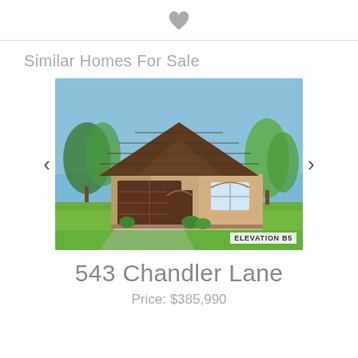[Figure (illustration): Heart/favorite icon (outlined heart shape in gray) centered at top of page]
Similar Homes For Sale
[Figure (photo): Exterior rendering of a single-story brick house with dark brown garage door, arched front door, and lush green lawn. Trees in background. Label reads ELEVATION B5 in bottom right corner.]
543 Chandler Lane
Price: $385,990